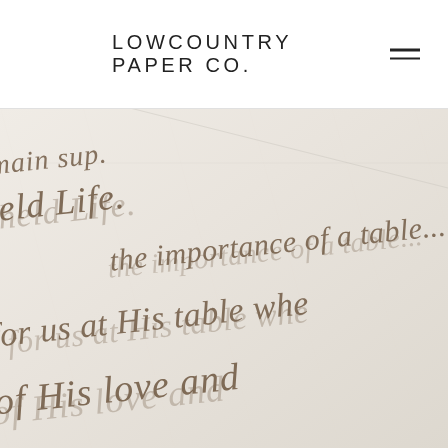LOWCOUNTRY PAPER CO.
[Figure (photo): Close-up photo of calligraphy on textured white paper showing cursive script lines including partial words: 'main sup.', 'held Life.', 's held Life.', 'the importance of a table...', 'the importance of a table...', 'for us at His table whe', 'et for us at His table whe', 'of His love and', 'of His love and'. Brown/sepia ink on cream paper.]